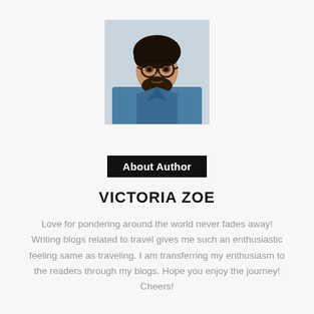[Figure (photo): Portrait photo of a young man with dark curly hair, round glasses, and a beard, wearing a denim jacket, looking slightly upward against a light background.]
About Author
VICTORIA ZOE
Love for pondering around the world never fades away! Writing blogs related to travel gives me such an enthusiastic feeling same as traveling. I am transferring my enthusiasm to the readers through my blogs. Hope you enjoy the journey! Cheers!